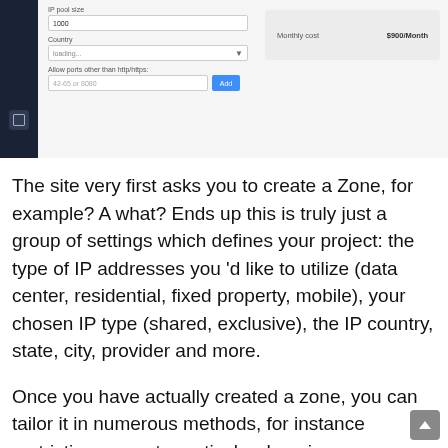[Figure (screenshot): Screenshot of a web form with dark sidebar. Form shows a text input with value '1000', a Country dropdown showing 'loading...', and an 'Allow ports other than http/https' field with placeholder text and an Add button. On the right side is a pricing box showing 'Monthly cost' and '$900/Month'.]
The site very first asks you to create a Zone, for example? A what? Ends up this is truly just a group of settings which defines your project: the type of IP addresses you 'd like to utilize (data center, residential, fixed property, mobile), your chosen IP type (shared, exclusive), the IP country, state, city, provider and more.
Once you have actually created a zone, you can tailor it in numerous methods, for instance restricting zones to particular domains, or including particular domains which you don't